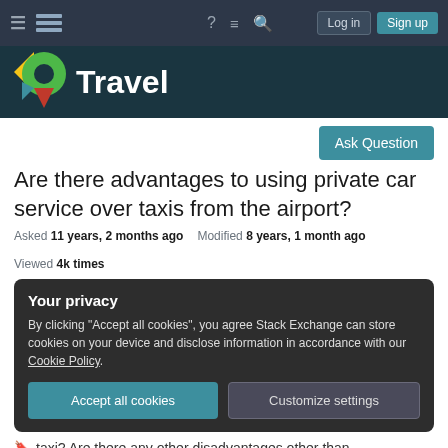Stack Exchange Travel - navigation bar with Log in and Sign up buttons
[Figure (logo): Travel Stack Exchange site logo with colorful map pin icon and white 'Travel' text on dark teal background]
Ask Question
Are there advantages to using private car service over taxis from the airport?
Asked 11 years, 2 months ago   Modified 8 years, 1 month ago   Viewed 4k times
Your privacy
By clicking "Accept all cookies", you agree Stack Exchange can store cookies on your device and disclose information in accordance with our Cookie Policy.
Accept all cookies   Customize settings
taxi? Are there any other disadvantages other than